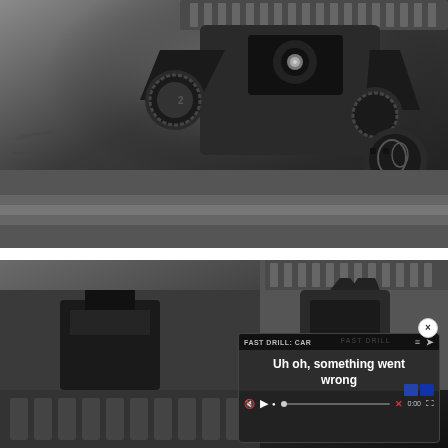[Figure (photo): Close-up photograph of iron sights (rear backup sight) mounted on a rifle's picatinny rail, showing detailed metalwork of the adjustable aperture sight and charging handle area. Black finish, high contrast studio-style lighting.]
RECOILWEB.COM
[Figure (photo): Second photograph showing close-up of a firearm's front sight post and picatinny rail, lower portion of the page. Overlaid with a video player error overlay reading 'FAST DRILL: CAR' and 'Uh oh, something went wrong' with media player controls (mute, play, progress bar, X, 0:00, fullscreen). A close button (x) appears in the top-right of the overlay.]